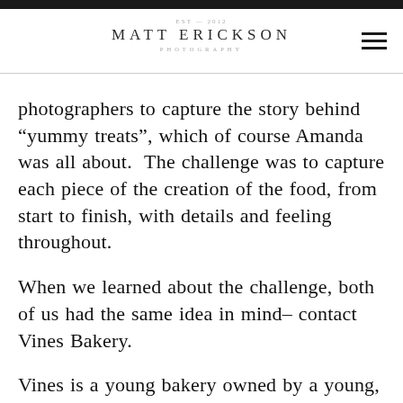MATT ERICKSON PHOTOGRAPHY
photographers to capture the story behind “yummy treats”, which of course Amanda was all about.  The challenge was to capture each piece of the creation of the food, from start to finish, with details and feeling throughout.
When we learned about the challenge, both of us had the same idea in mind– contact Vines Bakery.
Vines is a young bakery owned by a young, professional, caring, profound